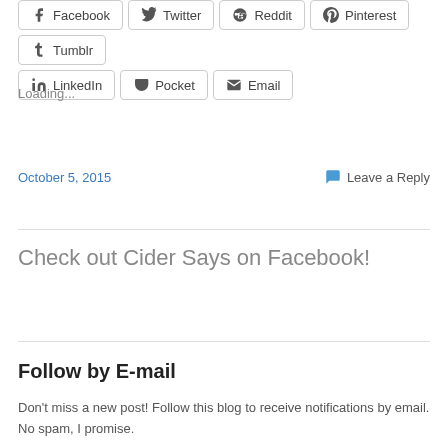Facebook Twitter Reddit Pinterest Tumblr LinkedIn Pocket Email
Loading...
October 5, 2015   💬 Leave a Reply
Check out Cider Says on Facebook!
Follow by E-mail
Don't miss a new post! Follow this blog to receive notifications by email. No spam, I promise.